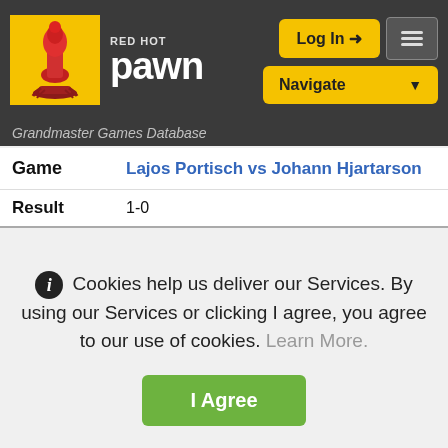RED HOT pawn — Log In — Navigate — Grandmaster Games Database
| Game | Result |
| --- | --- |
| Lajos Portisch vs Johann Hjartarson | 1-0 |
Cookies help us deliver our Services. By using our Services or clicking I agree, you agree to our use of cookies. Learn More.